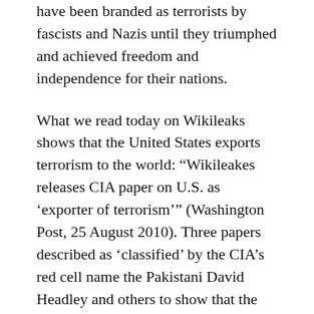have been branded as terrorists by fascists and Nazis until they triumphed and achieved freedom and independence for their nations.
What we read today on Wikileaks shows that the United States exports terrorism to the world: “Wikileakes releases CIA paper on U.S. as ‘exporter of terrorism’” (Washington Post, 25 August 2010). Three papers described as ‘classified’ by the CIA’s red cell name the Pakistani David Headley and others to show that the U.S. government has become an exporter of terrorism. Headley acknowledged his responsibility for the Bombay attack which claimed the lives of 160 people. The paper adds that “Such exports are not new. In 1994, an American Jewish doctor, Baruch Goldstein